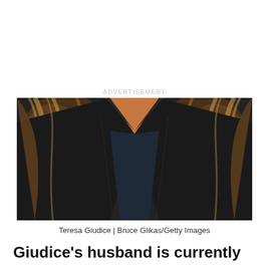ADVERTISEMENT
[Figure (photo): Close-up photo of Teresa Giudice from the shoulders/chest up, showing her long wavy highlighted brown hair and a black blazer over a dark top, with a plunging neckline revealing tanned skin. Dark background.]
Teresa Giudice | Bruce Glikas/Getty Images
Giudice's husband is currently